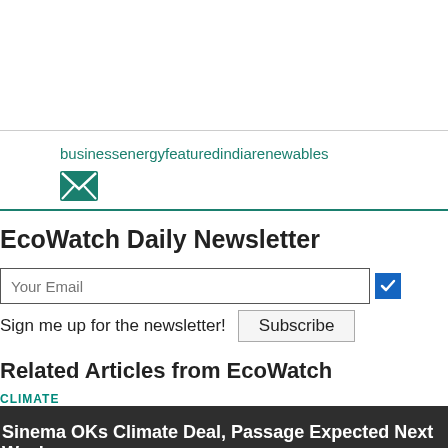businessenergyfeaturedindiarenewables
[Figure (illustration): Green envelope/email icon]
EcoWatch Daily Newsletter
Your Email
Sign me up for the newsletter! Subscribe
Related Articles from EcoWatch
CLIMATE
Sinema OKs Climate Deal, Passage Expected Next Week
Aug 05